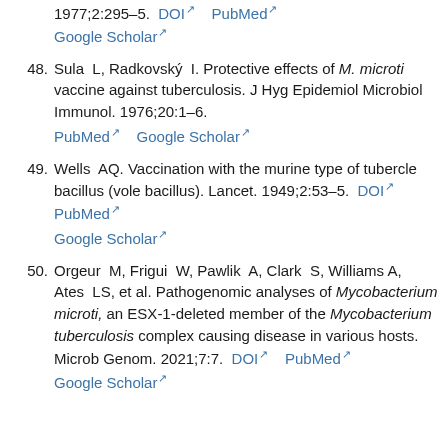1977;2:295–5. DOI PubMed Google Scholar
48. Sula L, Radkovský I. Protective effects of M. microti vaccine against tuberculosis. J Hyg Epidemiol Microbiol Immunol. 1976;20:1–6. PubMed Google Scholar
49. Wells AQ. Vaccination with the murine type of tubercle bacillus (vole bacillus). Lancet. 1949;2:53–5. DOI PubMed Google Scholar
50. Orgeur M, Frigui W, Pawlik A, Clark S, Williams A, Ates LS, et al. Pathogenomic analyses of Mycobacterium microti, an ESX-1-deleted member of the Mycobacterium tuberculosis complex causing disease in various hosts. Microb Genom. 2021;7:7. DOI PubMed Google Scholar